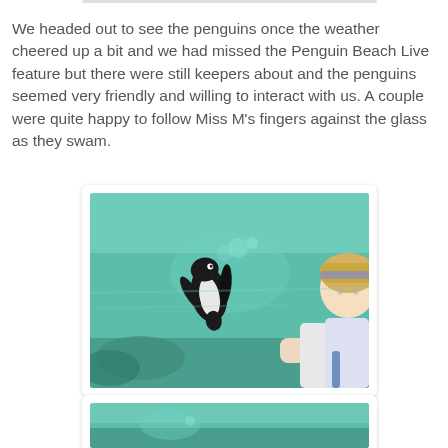We headed out to see the penguins once the weather cheered up a bit and we had missed the Penguin Beach Live feature but there were still keepers about and the penguins seemed very friendly and willing to interact with us. A couple were quite happy to follow Miss M's fingers against the glass as they swam.
[Figure (photo): A young blonde girl with a purple/grey headband, wearing a white top, reaches her hand out toward a glass aquarium panel. On the other side of the glass, a penguin swims through turquoise-green water toward her hand.]
[Figure (photo): Partial view of another aquarium photo, cropped at bottom of page, showing turquoise water and what appears to be penguins.]